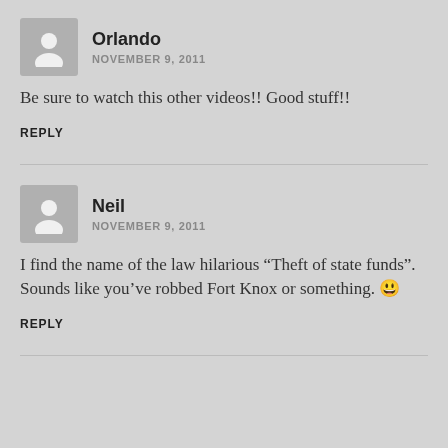Orlando
NOVEMBER 9, 2011
Be sure to watch this other videos!! Good stuff!!
REPLY
Neil
NOVEMBER 9, 2011
I find the name of the law hilarious “Theft of state funds”. Sounds like you’ve robbed Fort Knox or something. 😃
REPLY